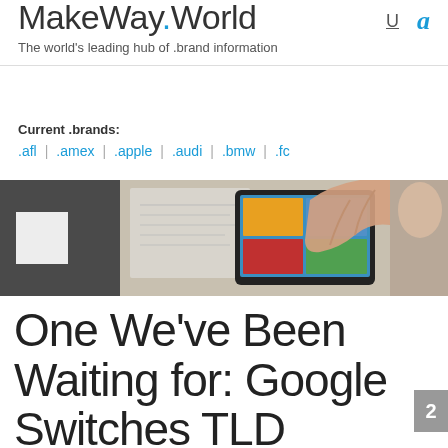MakeWay.World — The world's leading hub of .brand information
Current .brands: .afl | .amex | .apple | .audi | .bmw | .fc
[Figure (photo): Hero banner image showing hands using a tablet/touchscreen device with colorful images on screen, alongside papers/documents on a desk]
One We've Been Waiting for: Google Switches TLD Registrar to